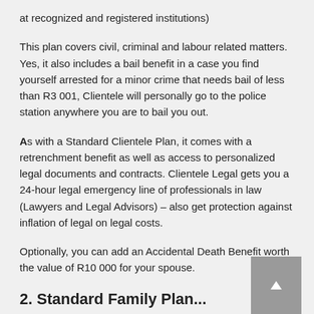at recognized and registered institutions)
This plan covers civil, criminal and labour related matters. Yes, it also includes a bail benefit in a case you find yourself arrested for a minor crime that needs bail of less than R3 001, Clientele will personally go to the police station anywhere you are to bail you out.
As with a Standard Clientele Plan, it comes with a retrenchment benefit as well as access to personalized legal documents and contracts. Clientele Legal gets you a 24-hour legal emergency line of professionals in law (Lawyers and Legal Advisors) – also get protection against inflation of legal on legal costs.
Optionally, you can add an Accidental Death Benefit worth the value of R10 000 for your spouse.
2. Standard Family Plan